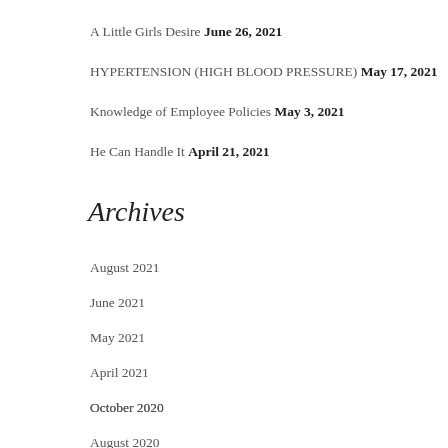A Little Girls Desire June 26, 2021
HYPERTENSION (HIGH BLOOD PRESSURE) May 17, 2021
Knowledge of Employee Policies May 3, 2021
He Can Handle It April 21, 2021
Archives
August 2021
June 2021
May 2021
April 2021
October 2020
August 2020
July 2020
June 2020